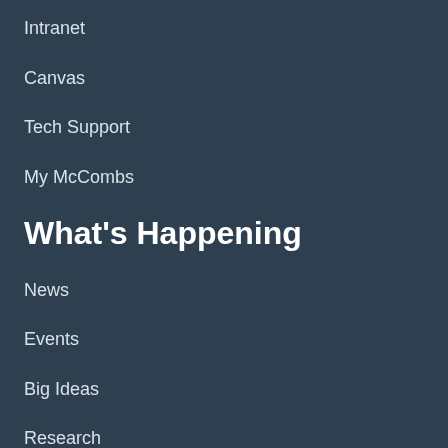Intranet
Canvas
Tech Support
My McCombs
What's Happening
News
Events
Big Ideas
Research
Get in Touch
Contact